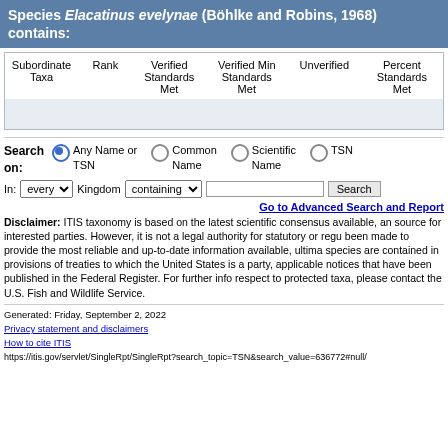Species Elacatinus evelynae (Böhlke and Robins, 1968) contains:
| Subordinate Taxa | Rank | Verified Standards Met | Verified Min Standards Met | Unverified | Percent Standards Met |
| --- | --- | --- | --- | --- | --- |
Search on: Any Name or TSN | Common Name | Scientific Name | TSN
In: every Kingdom containing [text input] Search
Go to Advanced Search and Report
Disclaimer: ITIS taxonomy is based on the latest scientific consensus available, and is intended as a reference source for interested parties. However, it is not a legal authority for statutory or regulatory purposes. While every effort has been made to provide the most reliable and up-to-date information available, ultimate legal requirements with respect to species are contained in provisions of treaties to which the United States is a party, wildlife statutes, regulations, and any applicable notices that have been published in the Federal Register. For further information on U.S. legal requirements with respect to protected taxa, please contact the U.S. Fish and Wildlife Service.
Generated: Friday, September 2, 2022
Privacy statement and disclaimers
How to cite ITIS
https://itis.gov/servlet/SingleRpt/SingleRpt?search_topic=TSN&search_value=636772#null/